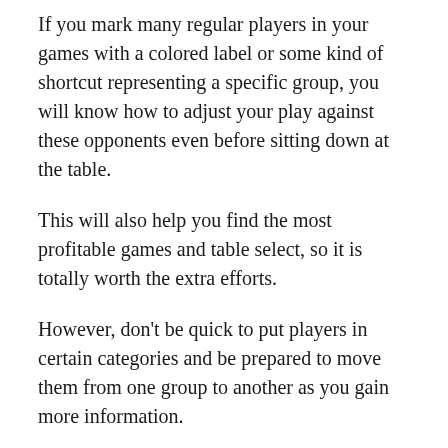If you mark many regular players in your games with a colored label or some kind of shortcut representing a specific group, you will know how to adjust your play against these opponents even before sitting down at the table.
This will also help you find the most profitable games and table select, so it is totally worth the extra efforts.
However, don't be quick to put players in certain categories and be prepared to move them from one group to another as you gain more information.
Even good regs make bad plays every now and then, but that doesn't mean they're bad in general.
Take enough time to figure out what group the player is most likely to belong to and never make judgments